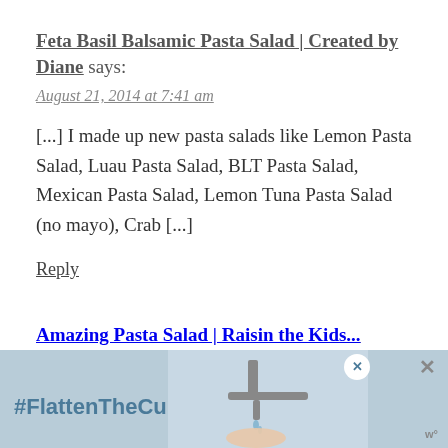Feta Basil Balsamic Pasta Salad | Created by Diane says:
August 21, 2014 at 7:41 am
[...] I made up new pasta salads like Lemon Pasta Salad, Luau Pasta Salad, BLT Pasta Salad, Mexican Pasta Salad, Lemon Tuna Pasta Salad (no mayo), Crab [...]
Reply
Amazing Pasta Salad | Raisin the Kids...
[Figure (screenshot): Bottom advertisement banner with #FlattenTheCurve hashtag text on light blue background, a faucet/handwashing image, and close buttons]